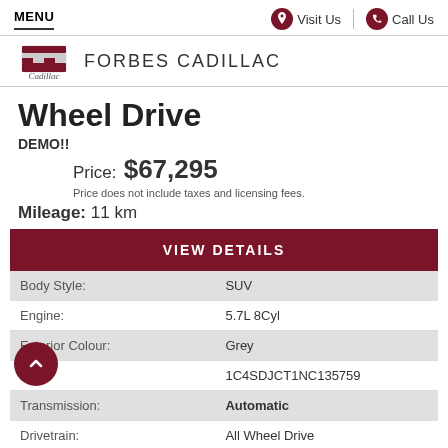MENU | Visit Us | Call Us
FORBES CADILLAC
Wheel Drive
DEMO!!
Price: $67,295
Price does not include taxes and licensing fees.
Mileage: 11 km
VIEW DETAILS
|  |  |
| --- | --- |
| Body Style: | SUV |
| Engine: | 5.7L 8Cyl |
| Exterior Colour: | Grey |
| VIN: | 1C4SDJCT1NC135759 |
| Transmission: | Automatic |
| Drivetrain: | All Wheel Drive |